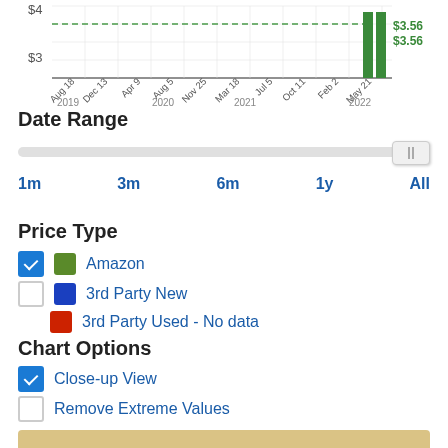[Figure (bar-chart): Bar chart showing Amazon price history from Aug 2019 to May 2022, with two green bars near May 21 at $3.56 each, and a dashed green horizontal line near $3.56. Y-axis shows $3 and $4. X-axis shows dates: Aug 18, Dec 13, Apr 9, Aug 5, Nov 25, Mar 18, Jul 5, Oct 11, Feb 2, May 21 with year labels 2019, 2020, 2021, 2022.]
Date Range
1m   3m   6m   1y   All
Price Type
Amazon
3rd Party New
3rd Party Used - No data
Chart Options
Close-up View
Remove Extreme Values